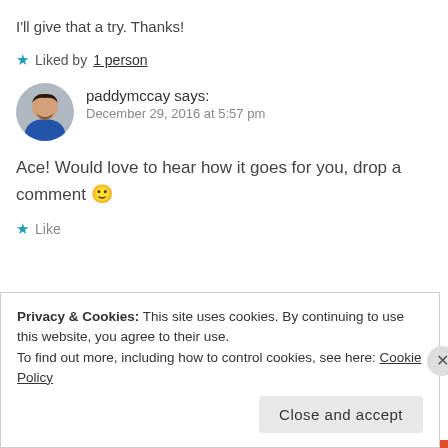I'll give that a try. Thanks!
★ Liked by 1 person
paddymccay says: December 29, 2016 at 5:57 pm
Ace! Would love to hear how it goes for you, drop a comment 🙂
★ Like
Privacy & Cookies: This site uses cookies. By continuing to use this website, you agree to their use. To find out more, including how to control cookies, see here: Cookie Policy
Close and accept